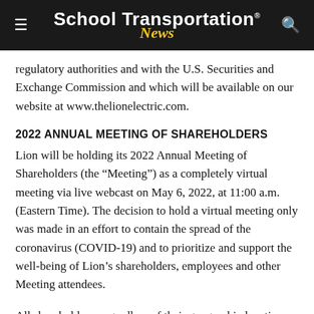School Transportation News
regulatory authorities and with the U.S. Securities and Exchange Commission and which will be available on our website at www.thelionelectric.com.
2022 ANNUAL MEETING OF SHAREHOLDERS
Lion will be holding its 2022 Annual Meeting of Shareholders (the “Meeting”) as a completely virtual meeting via live webcast on May 6, 2022, at 11:00 a.m. (Eastern Time). The decision to hold a virtual meeting only was made in an effort to contain the spread of the coronavirus (COVID-19) and to prioritize and support the well-being of Lion’s shareholders, employees and other Meeting attendees.
All shareholders, regardless of their geographic location, will have an equal opportunity to participate at the virtual Meeting...